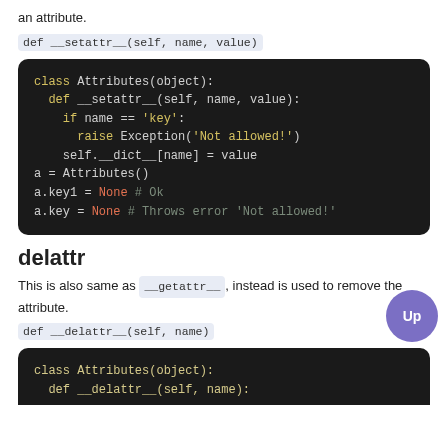an attribute.
[Figure (screenshot): Dark code block showing Python class Attributes(object) with __setattr__ method, conditional raise Exception, and usage examples.]
delattr
This is also same as __getattr__, instead is used to remove the attribute.
[Figure (screenshot): Partial dark code block showing class Attributes(object) and def __delattr__(self, name).]